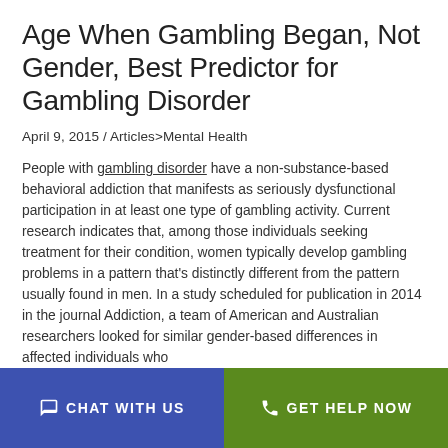Age When Gambling Began, Not Gender, Best Predictor for Gambling Disorder
April 9, 2015 / Articles>Mental Health
People with gambling disorder have a non-substance-based behavioral addiction that manifests as seriously dysfunctional participation in at least one type of gambling activity. Current research indicates that, among those individuals seeking treatment for their condition, women typically develop gambling problems in a pattern that's distinctly different from the pattern usually found in men. In a study scheduled for publication in 2014 in the journal Addiction, a team of American and Australian researchers looked for similar gender-based differences in affected individuals who
CHAT WITH US  |  GET HELP NOW